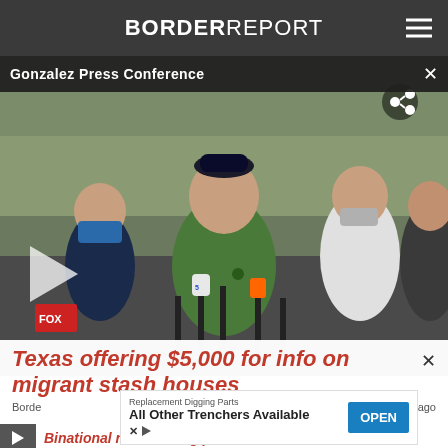BORDER REPORT
Gonzalez Press Conference
[Figure (photo): Outdoor press conference scene showing a man in a green polo shirt speaking at microphones from multiple news outlets including NBC5 and Univision, surrounded by people wearing face masks due to COVID-19. A play button overlay is visible on the left side.]
Texas offering $5,000 for info on migrant stash houses
Border
urs ago
[Figure (other): Advertisement banner: Replacement Digging Parts - All Other Trenchers Available - OPEN button]
Binational rail crossing planned for